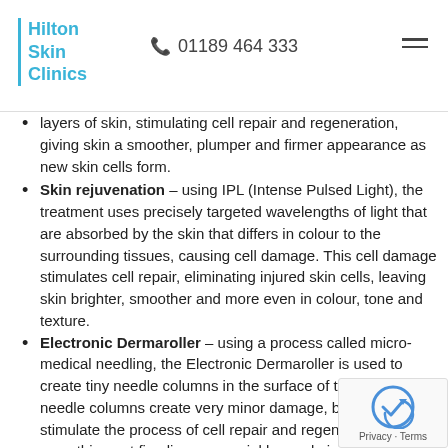Hilton Skin Clinics | 01189 464 333
layers of skin, stimulating cell repair and regeneration, giving skin a smoother, plumper and firmer appearance as new skin cells form.
Skin rejuvenation – using IPL (Intense Pulsed Light), the treatment uses precisely targeted wavelengths of light that are absorbed by the skin that differs in colour to the surrounding tissues, causing cell damage. This cell damage stimulates cell repair, eliminating injured skin cells, leaving skin brighter, smoother and more even in colour, tone and texture.
Electronic Dermaroller – using a process called micro-medical needling, the Electronic Dermaroller is used to create tiny needle columns in the surface of the skin. These needle columns create very minor damage, but enough to stimulate the process of cell repair and regeneration, smoothing out fine lines and wrinkles and giving skin a more even tone and texture.
Pigmentation/age spot removal – using IPL